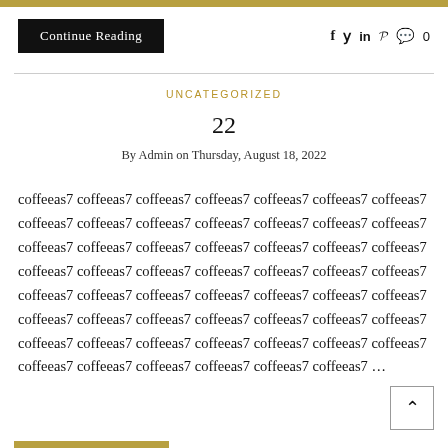Continue Reading | social icons: f t in p | 0 comments
UNCATEGORIZED
22
By Admin on Thursday, August 18, 2022
coffeeas7 coffeeas7 coffeeas7 coffeeas7 coffeeas7 coffeeas7 coffeeas7 coffeeas7 coffeeas7 coffeeas7 coffeeas7 coffeeas7 coffeeas7 coffeeas7 coffeeas7 coffeeas7 coffeeas7 coffeeas7 coffeeas7 coffeeas7 coffeeas7 coffeeas7 coffeeas7 coffeeas7 coffeeas7 coffeeas7 coffeeas7 coffeeas7 coffeeas7 coffeeas7 coffeeas7 coffeeas7 coffeeas7 coffeeas7 coffeeas7 coffeeas7 coffeeas7 coffeeas7 coffeeas7 coffeeas7 coffeeas7 coffeeas7 coffeeas7 coffeeas7 coffeeas7 coffeeas7 coffeeas7 coffeeas7 coffeeas7 coffeeas7 coffeeas7 coffeeas7 coffeeas7 coffeeas7 coffeeas7 coffeeas7 …